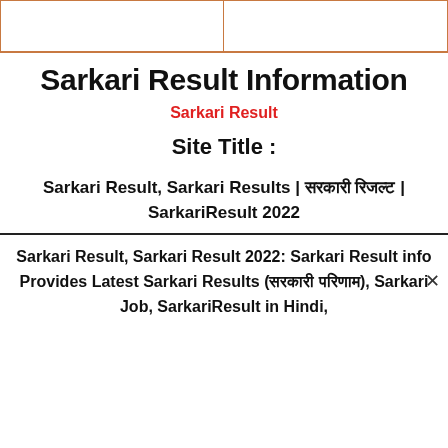[Figure (other): Two bordered box placeholders at the top of the page, side by side with orange/brown borders]
Sarkari Result Information
Sarkari Result
Site Title :
Sarkari Result, Sarkari Results | सरकारी रिजल्ट | SarkariResult 2022
Sarkari Result, Sarkari Result 2022: Sarkari Result info Provides Latest Sarkari Results (सरकारी परिणाम), Sarkari Job, SarkariResult in Hindi,